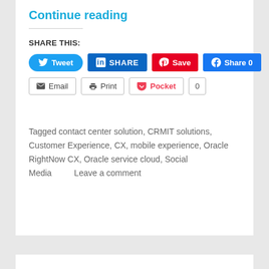Continue reading
SHARE THIS:
[Figure (other): Social sharing buttons row 1: Tweet (Twitter), SHARE (LinkedIn), Save (Pinterest), Share 0 (Facebook)]
[Figure (other): Social sharing buttons row 2: Email, Print, Pocket, 0]
Tagged contact center solution, CRMIT solutions, Customer Experience, CX, mobile experience, Oracle RightNow CX, Oracle service cloud, Social Media      Leave a comment